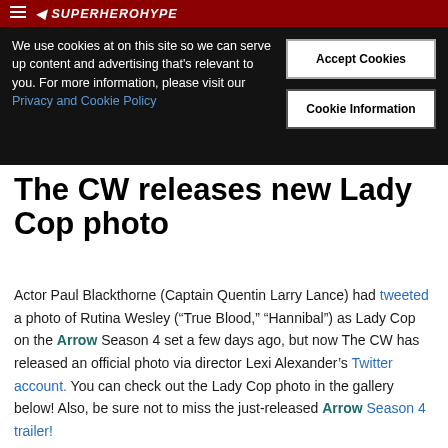SuperHeroHype
We use cookies at on this site so we can serve up content and advertising that's relevant to you. For more information, please visit our Privacy and Cookie Policy
The CW releases new Lady Cop photo
Actor Paul Blackthorne (Captain Quentin Larry Lance) had tweeted a photo of Rutina Wesley (“True Blood,” “Hannibal”) as Lady Cop on the Arrow Season 4 set a few days ago, but now The CW has released an official photo via director Lexi Alexander’s Twitter account. You can check out the Lady Cop photo in the gallery below! Also, be sure not to miss the just-released Arrow Season 4 trailer!